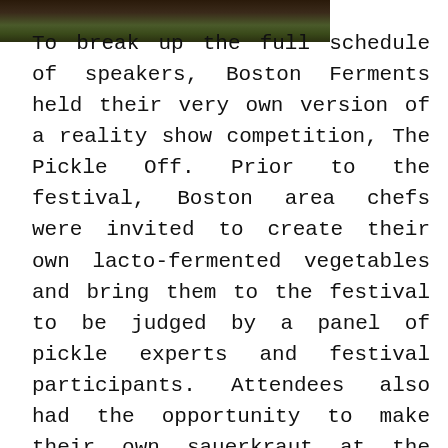[Figure (photo): Partial photo at the top of the page showing a dark image, likely food or festival scene]
To break up the full schedule of speakers, Boston Ferments held their very own version of a reality show competition, The Pickle Off. Prior to the festival, Boston area chefs were invited to create their own lacto-fermented vegetables and bring them to the festival to be judged by a panel of pickle experts and festival participants. Attendees also had the opportunity to make their own sauerkraut at the “kraut mob” table where they were provided with cabbage, apples, carrots and salt. The “mobsters” taught the art of sauerkraut making as festivalgoers got their hands dirty, going home with their own bubbling jar to watch the lactobacillus bacteria work their magic. At the end of the day, the “kraut mob” went through 100 pounds of cabbage and 40 pounds of apples and carrots during the communal event.